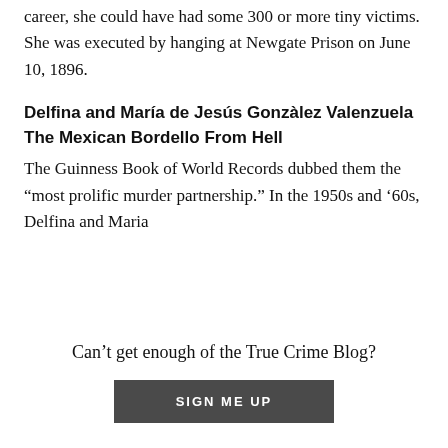career, she could have had some 300 or more tiny victims. She was executed by hanging at Newgate Prison on June 10, 1896.
Delfina and María de Jesús Gonzàlez Valenzuela
The Mexican Bordello From Hell
The Guinness Book of World Records dubbed them the “most prolific murder partnership.” In the 1950s and ’60s, Delfina and Maria
Can’t get enough of the True Crime Blog?
SIGN ME UP